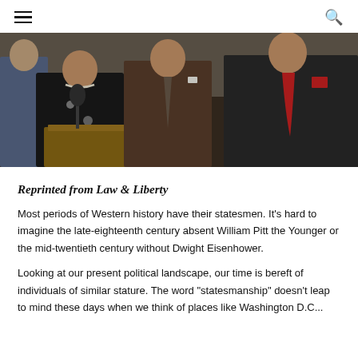≡  🔍
[Figure (photo): A woman in a black floral dress with pearl necklace speaks at a wooden podium with a microphone. Several men in suits stand behind her, one wearing a brown suit and another with a red tie and pocket square.]
Reprinted from Law & Liberty
Most periods of Western history have their statesmen. It's hard to imagine the late-eighteenth century absent William Pitt the Younger or the mid-twentieth century without Dwight Eisenhower.
Looking at our present political landscape, our time is bereft of individuals of similar stature. The word "statesmanship" doesn't leap to mind these days when we think of places like Washington D.C...